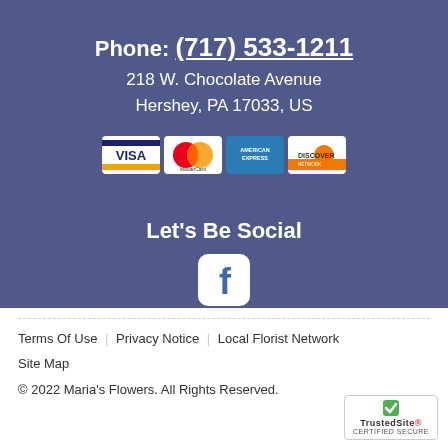Phone: (717) 533-1211
218 W. Chocolate Avenue
Hershey, PA 17033, US
[Figure (logo): Credit card logos: Visa, MasterCard, American Express, Discover]
Let's Be Social
[Figure (logo): Facebook icon - white rounded square with Facebook 'f' logo]
Terms Of Use | Privacy Notice | Local Florist Network | Site Map
© 2022 Maria's Flowers. All Rights Reserved.
[Figure (logo): TrustedSite CERTIFIED SECURE badge]